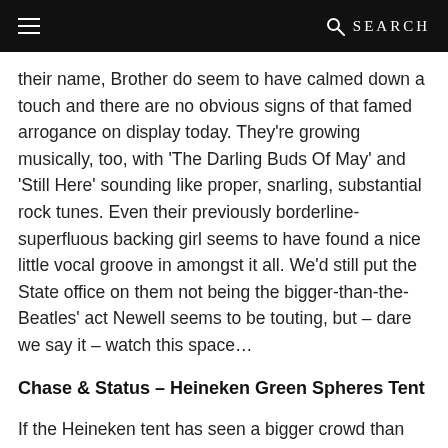≡  🔍 SEARCH
their name, Brother do seem to have calmed down a touch and there are no obvious signs of that famed arrogance on display today. They're growing musically, too, with 'The Darling Buds Of May' and 'Still Here' sounding like proper, snarling, substantial rock tunes. Even their previously borderline-superfluous backing girl seems to have found a nice little vocal groove in amongst it all. We'd still put the State office on them not being the bigger-than-the-Beatles' act Newell seems to be touting, but – dare we say it – watch this space…
Chase & Status – Heineken Green Spheres Tent
If the Heineken tent has seen a bigger crowd than this all weekend, we weren't part of it. Chase & Status's set is an